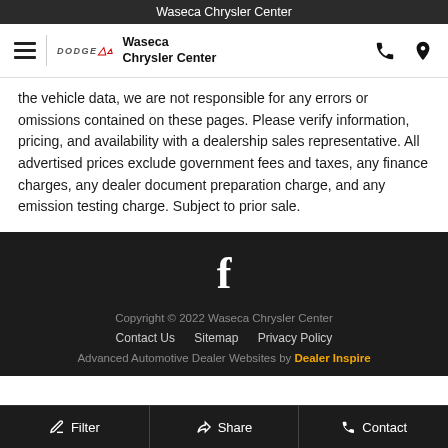Waseca Chrysler Center
[Figure (logo): Waseca Chrysler Center navigation header with hamburger menu, Dodge logo, dealership name, phone and location icons]
the vehicle data, we are not responsible for any errors or omissions contained on these pages. Please verify information, pricing, and availability with a dealership sales representative. All advertised prices exclude government fees and taxes, any finance charges, any dealer document preparation charge, and any emission testing charge. Subject to prior sale.
[Figure (illustration): Facebook social media icon in white on dark background]
Copyright © 2022 Waseca Chrysler Center
Contact Us   Sitemap   Privacy Policy
Advanced Automotive Dealer Websites by Dealer Inspire
Filter   Share   Contact